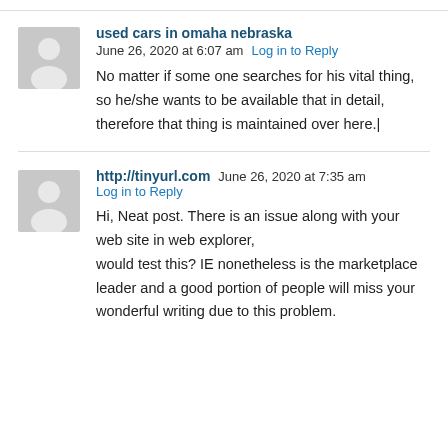used cars in omaha nebraska  June 26, 2020 at 6:07 am  Log in to Reply
No matter if some one searches for his vital thing, so he/she wants to be available that in detail, therefore that thing is maintained over here.|
http://tinyurl.com  June 26, 2020 at 7:35 am  Log in to Reply
Hi, Neat post. There is an issue along with your web site in web explorer, would test this? IE nonetheless is the marketplace leader and a good portion of people will miss your wonderful writing due to this problem.